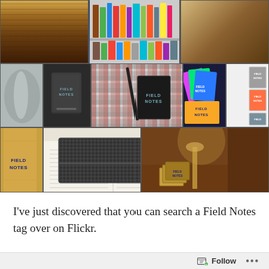[Figure (photo): A collage of Field Notes brand notebooks and accessories in three rows. Top row shows wood grain texture, colorful Field Notes notebooks covers, and shelves of notebooks. Middle row shows gray Field Notes notebook, a plaid fabric with Field Notes notebook, colorful neon Field Notes notebooks (pink, green, blue, yellow), and small notebook stacks. Bottom row shows a tan Field Notes notebook spine, a dark tweed/fabric wallet or cover on open book pages, and leather goods with Field Notes notebooks on a desk.]
I've just discovered that you can search a Field Notes tag over on Flickr.
Follow ...